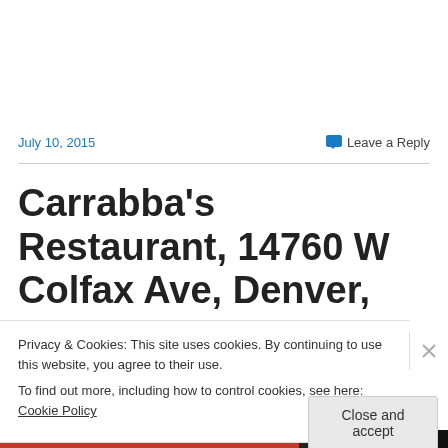July 10, 2015
Leave a Reply
Carrabba's Restaurant, 14760 W Colfax Ave, Denver, Colorado, USA
Privacy & Cookies: This site uses cookies. By continuing to use this website, you agree to their use.
To find out more, including how to control cookies, see here: Cookie Policy
Close and accept